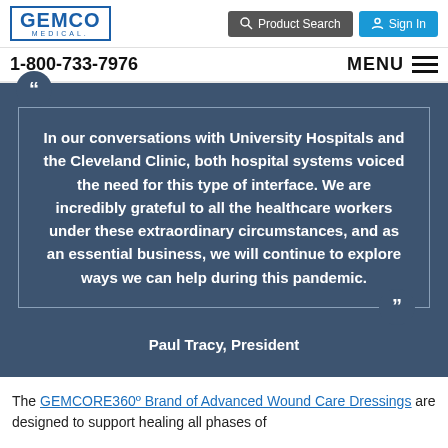GEMCO MEDICAL | Product Search | Sign In | 1-800-733-7976 | MENU
In our conversations with University Hospitals and the Cleveland Clinic, both hospital systems voiced the need for this type of interface. We are incredibly grateful to all the healthcare workers under these extraordinary circumstances, and as an essential business, we will continue to explore ways we can help during this pandemic.
Paul Tracy, President
The GEMCORE360º Brand of Advanced Wound Care Dressings are designed to support healing all phases of ...